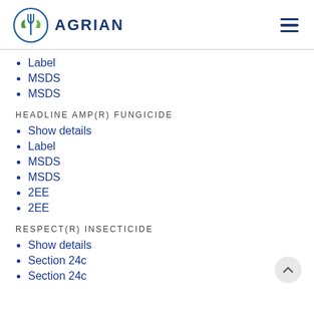AGRIAN
Label
MSDS
MSDS
HEADLINE AMP(R) FUNGICIDE
Show details
Label
MSDS
MSDS
2EE
2EE
RESPECT(R) INSECTICIDE
Show details
Section 24c
Section 24c